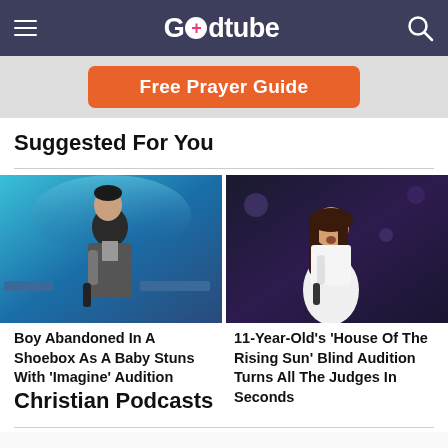Godtube
[Figure (screenshot): Orange 'Free Prayer Guide' button advertisement banner]
Suggested For You
[Figure (photo): Young man holding microphone on stage with blue background — talent show audition]
Boy Abandoned In A Shoebox As A Baby Stuns With 'Imagine' Audition
[Figure (photo): Young girl in white holding microphone on dark stage — talent show audition]
11-Year-Old's 'House Of The Rising Sun' Blind Audition Turns All The Judges In Seconds
Christian Podcasts